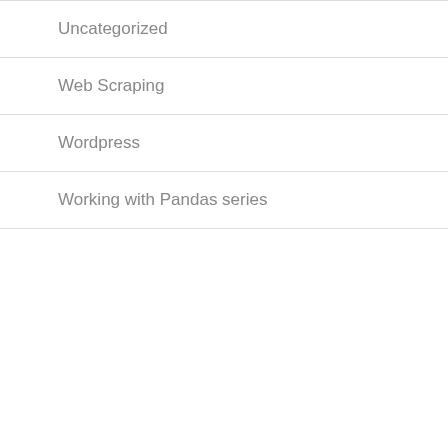Uncategorized
Web Scraping
Wordpress
Working with Pandas series